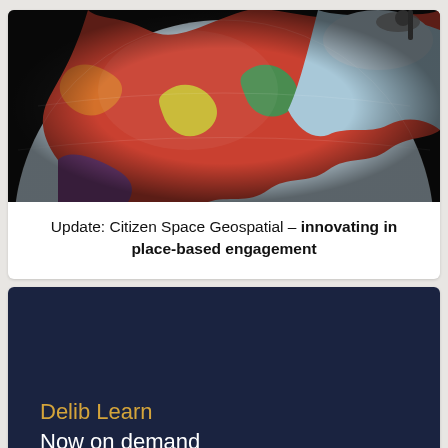[Figure (photo): Close-up photo of a colorful globe showing North America, particularly Canada, with red, orange, green, and multicolored regions on a dark background]
Update: Citizen Space Geospatial – innovating in place-based engagement
[Figure (illustration): Dark navy blue banner with gold text 'Delib Learn' and white text 'Now on demand']